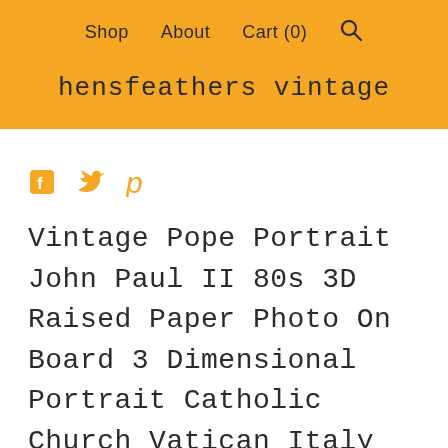Shop   About   Cart (0)   🔍
hensfeathers vintage
[Figure (infographic): Social media icons: Facebook (f), Twitter bird, Pinterest (p) in orange/gold color]
Vintage Pope Portrait John Paul II 80s 3D Raised Paper Photo On Board 3 Dimensional Portrait Catholic Church Vatican Italy Joanne Paulus II